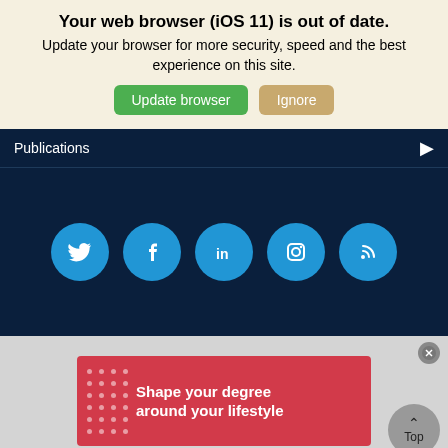Your web browser (iOS 11) is out of date.
Update your browser for more security, speed and the best experience on this site.
Update browser   Ignore
Publications
[Figure (infographic): Five blue circular social media icon buttons on a dark navy background: Twitter (bird), Facebook (f), LinkedIn (in), Instagram (camera), RSS (signal waves)]
[Figure (infographic): Red advertisement banner reading 'Shape your degree around your lifestyle' with white dot grid pattern on the left side. Gray close button (X) top right. Gray 'Top' button with up arrow bottom right.]